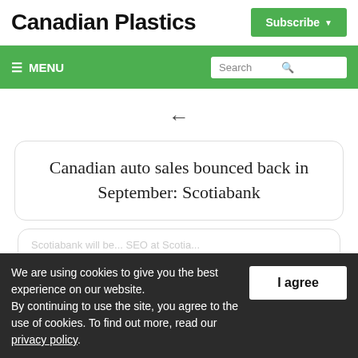Canadian Plastics
Subscribe
≡ MENU
Search
Canadian auto sales bounced back in September: Scotiabank
We are using cookies to give you the best experience on our website. By continuing to use the site, you agree to the use of cookies. To find out more, read our privacy policy.
I agree